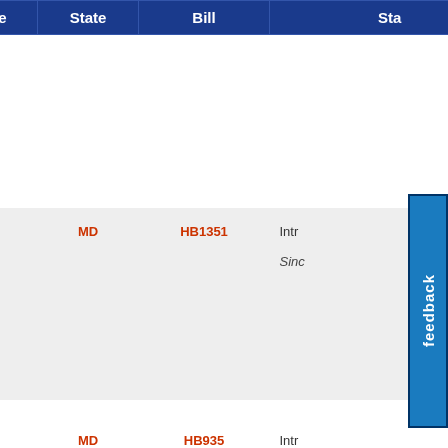| Stance | State | Bill | Status |
| --- | --- | --- | --- |
| [icon] | MD | HB1351 | Intr...
Sinc... |
| [icon] | MD | HB935 | Intr...
Sinc... |
| [icon] | MD | HB260 | Eng... |